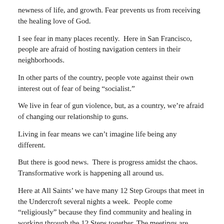newness of life, and growth. Fear prevents us from receiving the healing love of God.
I see fear in many places recently.  Here in San Francisco, people are afraid of hosting navigation centers in their neighborhoods.
In other parts of the country, people vote against their own interest out of fear of being “socialist.”
We live in fear of gun violence, but, as a country, we’re afraid of changing our relationship to guns.
Living in fear means we can’t imagine life being any different.
But there is good news.  There is progress amidst the chaos. Transformative work is happening all around us.
Here at All Saints’ we have many 12 Step Groups that meet in the Undercroft several nights a week.  People come “religiously” because they find community and healing in working through the 12 Steps together. The meetings are spirited and laughter spills out the door.
“Send out your light and your truth that you may lead me,” comes up for me as I meditate on the transformative work that’s happening in our midst, and which deserves our attention.